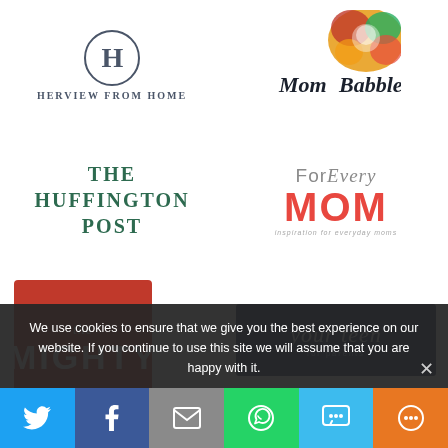[Figure (logo): HerViewFromHome logo with H in circle above text]
[Figure (logo): MomBabble logo with colorful floral graphic]
[Figure (logo): The Huffington Post logo in green serif text]
[Figure (logo): ForEveryMom logo with red MOM text and tagline]
[Figure (logo): The Mighty logo, white text on red square]
[Figure (logo): Your Teen for parents logo, white text on navy rectangle]
We use cookies to ensure that we give you the best experience on our website. If you continue to use this site we will assume that you are happy with it.
[Figure (infographic): Social sharing bar with Twitter, Facebook, Email, WhatsApp, SMS, and More buttons]